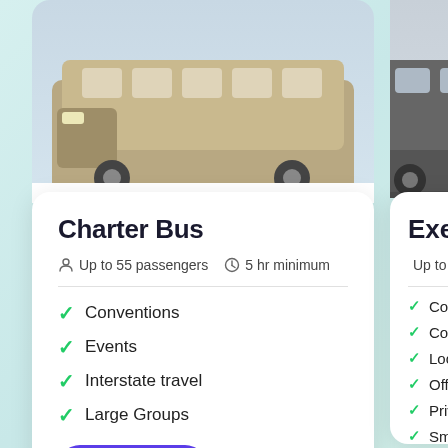[Figure (photo): Top portion of a charter bus vehicle on a light blue-grey background, cropped at the top of the card]
Charter Bus
Up to 55 passengers   5 hr minimum
Conventions
Events
Interstate travel
Large Groups
Get Pricing   Learn more
[Figure (photo): Top portion of an executive vehicle on a light blue-grey background, partially cropped on right side]
Executive
Up to 35 pa...
Corporate...
Corporate...
Local tra...
Off-site p...
Private a...
Small Gro...
Smaller C...
Wedding...
Worker Tr... sites